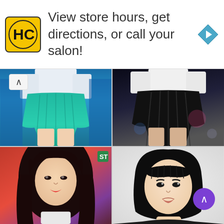[Figure (screenshot): Advertisement banner for HC (Hair Club) salon showing logo, text 'View store hours, get directions, or call your salon!' and a navigation arrow icon]
[Figure (photo): K-pop performer's lower body showing a turquoise/teal pleated skirt and white long-sleeve top, blue stage lighting background]
[Figure (photo): K-pop performer's lower body showing a black pleated skirt and white top, dark stage background with bokeh lights]
[Figure (photo): Young Asian woman with long dark hair, red lips, performing on stage with reddish-purple lighting, small watermark in top right]
[Figure (photo): Young Asian woman with short black bob haircut and bangs, wearing black top, posing with hands near chin, white background]